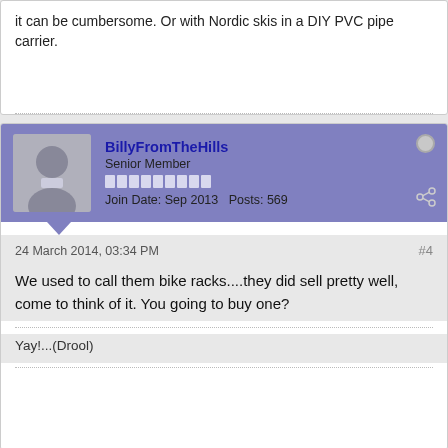it can be cumbersome. Or with Nordic skis in a DIY PVC pipe carrier.
BillyFromTheHills
Senior Member
Join Date: Sep 2013   Posts: 569
24 March 2014, 03:34 PM   #4
We used to call them bike racks....they did sell pretty well, come to think of it. You going to buy one?
Yay!...(Drool)
MattB
Senior Member